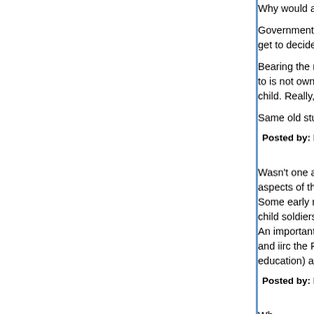Why would anyone sign an international treaty o...
Government not as a nanny state, as a literal full... get to decide who has children. And, of course, da...
Bearing the resposibility of raising a child and thu... to is not owning a child. By the construction here... child. Really, that would be better for your child?
Same old stupid shit.
Posted by: Marty | January 01, 2018 at 12:07 PM
Wasn't one argument against the convention that... aspects of the US legal/iudicial system, e.g. capit... Some early recruitment of the US armed forces m... child soldiers (I think even some European had to... An important factor is likely that some prominent e... and iirc the Pauls) openly object to US child labor... education) and want them overturned as unconst...
Posted by: Hartmut | January 01, 2018 at 12:10 PM
Wh...